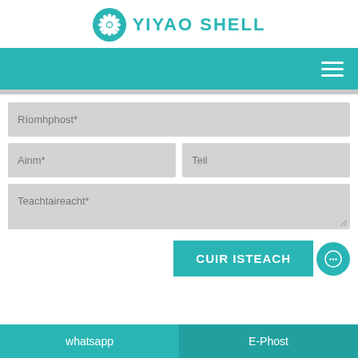[Figure (logo): Yiyao Shell company logo with teal shell/flower icon and teal text YIYAO SHELL]
[Figure (screenshot): Teal navigation bar with white hamburger menu icon on right]
Ríomhphost*
Ainm*
Teil
Teachtaireacht*
CUIR ISTEACH
whatsapp | E-Phost